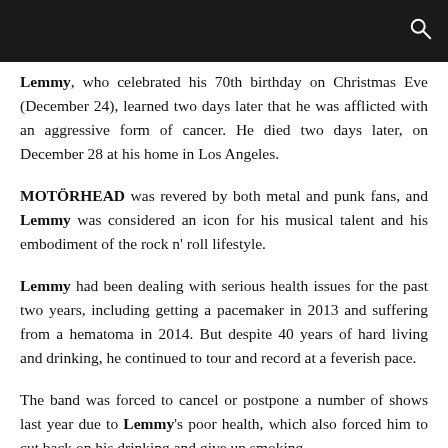[Black header bar with search icon]
Lemmy, who celebrated his 70th birthday on Christmas Eve (December 24), learned two days later that he was afflicted with an aggressive form of cancer. He died two days later, on December 28 at his home in Los Angeles.
MOTÖRHEAD was revered by both metal and punk fans, and Lemmy was considered an icon for his musical talent and his embodiment of the rock n' roll lifestyle.
Lemmy had been dealing with serious health issues for the past two years, including getting a pacemaker in 2013 and suffering from a hematoma in 2014. But despite 40 years of hard living and drinking, he continued to tour and record at a feverish pace.
The band was forced to cancel or postpone a number of shows last year due to Lemmy's poor health, which also forced him to cut back on his drinking and give up smoking.
While MOTÖRHEAD itself was revered by metal and punk fans, Lemmy himself became a rock and roll icon and elder